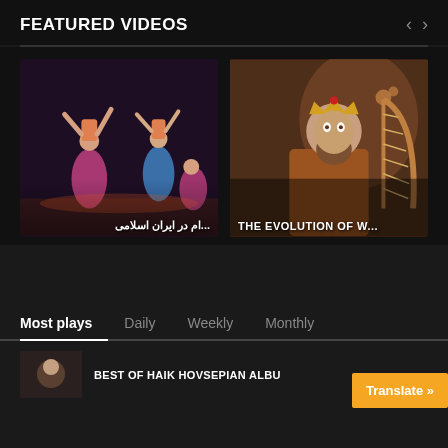FEATURED VIDEOS
[Figure (screenshot): Video thumbnail showing Persian/Iranian dancers in colorful costumes performing on a stage with text overlay in Farsi and '...ام در ایران اسلامی']
[Figure (screenshot): Video thumbnail showing a painting of a bearded man wearing a crown holding a harp, with text overlay 'THE EVOLUTION OF W...']
Most plays
Daily
Weekly
Monthly
BEST OF HAIK HOVSEPIAN ALBU
Translate »